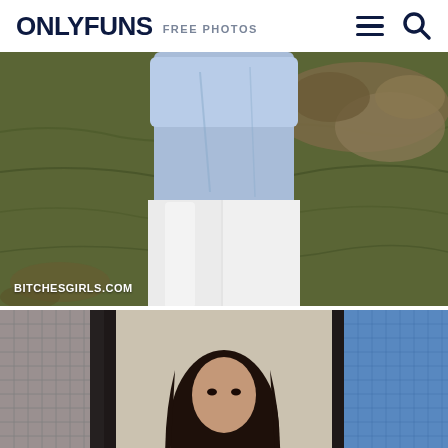ONLYFUNS FREE PHOTOS
[Figure (photo): Person standing by a rocky river, wearing a light blue long-sleeve top and white pants. Watermark reads BITCHESGIRLS.COM]
[Figure (photo): Person with long dark hair seen in or near a doorway/mirror, tiled walls visible on left and right sides, blue background on right]